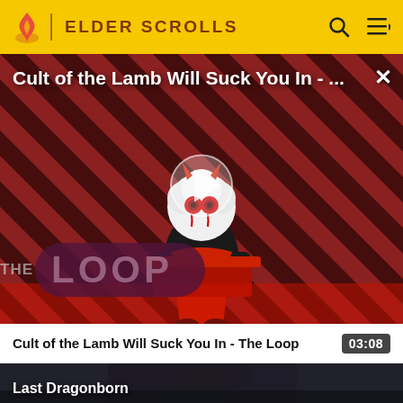ELDER SCROLLS
[Figure (screenshot): Video player showing 'Cult of the Lamb Will Suck You In - ...' with a cartoon lamb character on a diagonal red and dark striped background with 'THE LOOP' text overlay and a play button in the center. An X close button is in the top right.]
Cult of the Lamb Will Suck You In - The Loop
03:08
[Figure (screenshot): Thumbnail for 'Last Dragonborn' video showing a dark, moody image of a figure with armored gloves.]
Last Dragonborn